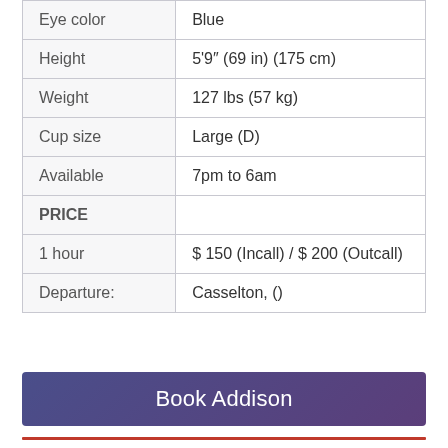| Eye color | Blue |
| Height | 5'9" (69 in) (175 cm) |
| Weight | 127 lbs (57 kg) |
| Cup size | Large (D) |
| Available | 7pm to 6am |
| PRICE |  |
| 1 hour | $ 150 (Incall) / $ 200 (Outcall) |
| Departure: | Casselton, () |
Book Addison